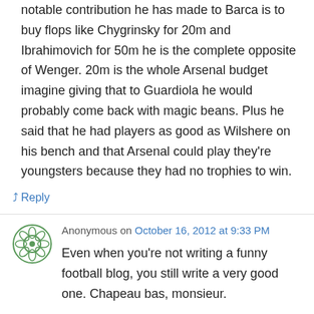notable contribution he has made to Barca is to buy flops like Chygrinsky for 20m and Ibrahimovich for 50m he is the complete opposite of Wenger. 20m is the whole Arsenal budget imagine giving that to Guardiola he would probably come back with magic beans. Plus he said that he had players as good as Wilshere on his bench and that Arsenal could play they're youngsters because they had no trophies to win.
↳ Reply
Anonymous on October 16, 2012 at 9:33 PM
Even when you're not writing a funny football blog, you still write a very good one. Chapeau bas, monsieur.